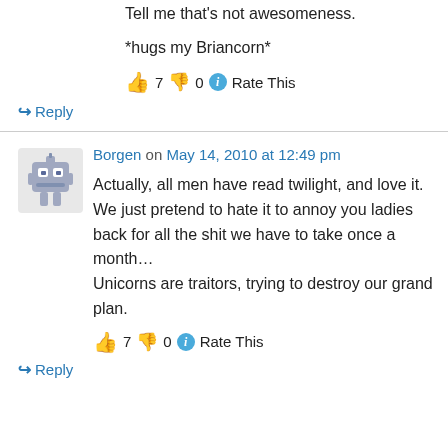*hugs my Briancorn*
👍 7 👎 0 ℹ Rate This
↪ Reply
Borgen on May 14, 2010 at 12:49 pm
Actually, all men have read twilight, and love it. We just pretend to hate it to annoy you ladies back for all the shit we have to take once a month… Unicorns are traitors, trying to destroy our grand plan.
👍 7 👎 0 ℹ Rate This
↪ Reply